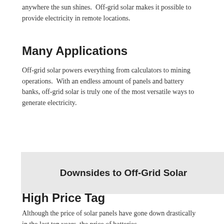anywhere the sun shines.  Off-grid solar makes it possible to provide electricity in remote locations.
Many Applications
Off-grid solar powers everything from calculators to mining operations.  With an endless amount of panels and battery banks, off-grid solar is truly one of the most versatile ways to generate electricity.
Downsides to Off-Grid Solar
High Price Tag
Although the price of solar panels have gone down drastically in the last ten years, the price of batteries